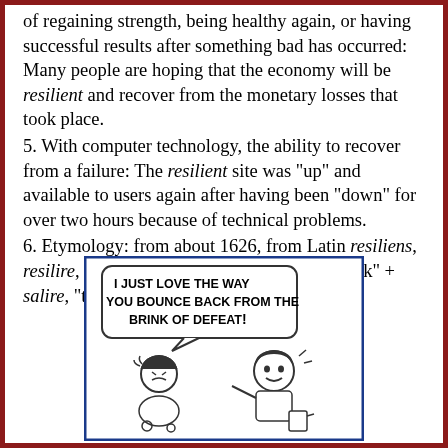of regaining strength, being healthy again, or having successful results after something bad has occurred: Many people are hoping that the economy will be resilient and recover from the monetary losses that took place.
5. With computer technology, the ability to recover from a failure: The resilient site was "up" and available to users again after having been "down" for over two hours because of technical problems.
6. Etymology: from about 1626, from Latin resiliens, resilire, "to rebound, to recoil"; from re-, "back" + salire, "to jump, to leap".
[Figure (illustration): Cartoon showing two people with a speech bubble reading 'I JUST LOVE THE WAY YOU BOUNCE BACK FROM THE BRINK OF DEFEAT!']